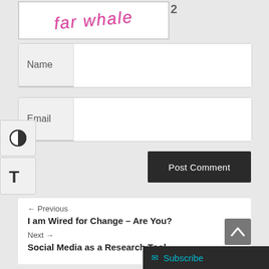[Figure (other): CAPTCHA image with handwritten-style text 'far whale' in pink/magenta on white background]
Name
Email
Post Comment
[Figure (other): Contrast toggle button (half-filled circle icon)]
[Figure (other): Text size toggle button (T icon)]
← Previous
I am Wired for Change – Are You?
Next →
Social Media as a Research Tool
Subscribe